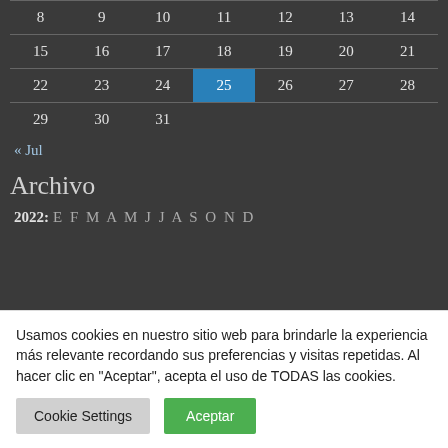| 8 | 9 | 10 | 11 | 12 | 13 | 14 |
| 15 | 16 | 17 | 18 | 19 | 20 | 21 |
| 22 | 23 | 24 | 25 | 26 | 27 | 28 |
| 29 | 30 | 31 |  |  |  |  |
« Jul
Archivo
2022: E F M A M J J A S O N D
Usamos cookies en nuestro sitio web para brindarle la experiencia más relevante recordando sus preferencias y visitas repetidas. Al hacer clic en "Aceptar", acepta el uso de TODAS las cookies.
Cookie Settings
Aceptar